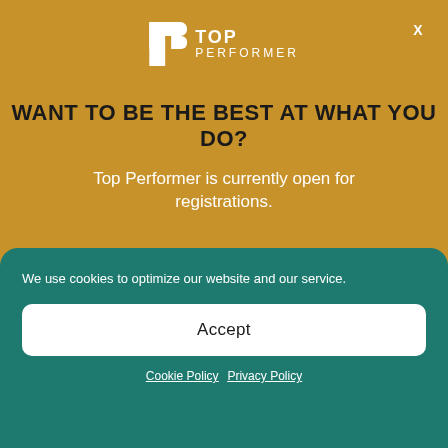[Figure (logo): Top Performer logo: white P icon followed by TOP PERFORMER text in white]
WANT TO BE THE BEST AT WHAT YOU DO?
Top Performer is currently open for registrations.
Registration closes in
3 D | 17 H | 32 M | 09 S
LEARN MORE!
We use cookies to optimize our website and our service.
Accept
Cookie Policy  Privacy Policy